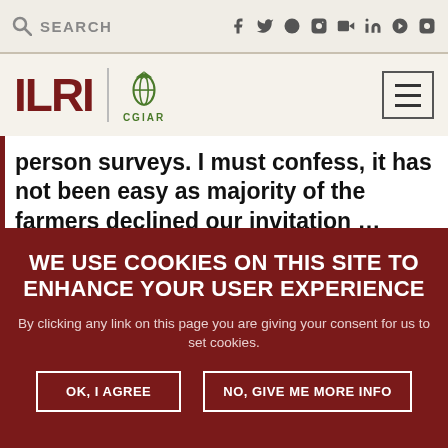SEARCH | social icons: f, twitter, skull, flickr, youtube, in, pinterest, instagram
[Figure (logo): ILRI CGIAR logo with hamburger menu button]
person surveys. I must confess, it has not been easy as majority of the farmers declined our invitation … Another limitation of this kind of survey is that
WE USE COOKIES ON THIS SITE TO ENHANCE YOUR USER EXPERIENCE
By clicking any link on this page you are giving your consent for us to set cookies.
OK, I AGREE | NO, GIVE ME MORE INFO